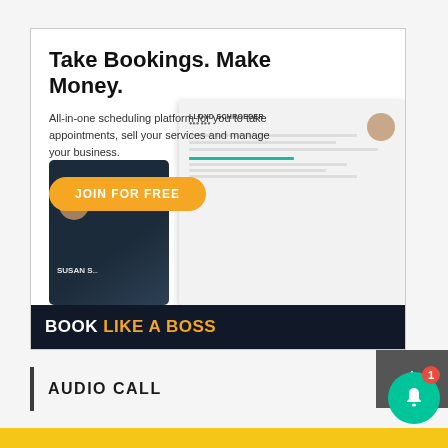[Figure (screenshot): Advertisement for 'Book Like A Boss' scheduling platform. Title: 'Take Bookings. Make Money.' Subtitle: 'All-in-one scheduling platform for you to take appointments, sell your services and manage your business.' Orange button: 'JOIN FOR FREE'. Background shows profile/booking cards. Footer: 'BOOK LIKE A BOSS' logo on dark background.]
AUDIO CALL
[Figure (screenshot): Yellow strip at the bottom of the page, partially visible.]